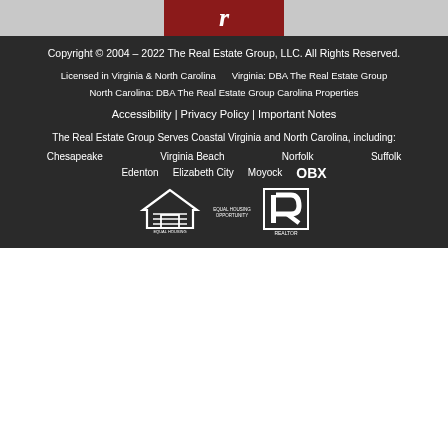[Figure (logo): Red banner with stylized R logo at top]
Copyright © 2004 – 2022 The Real Estate Group, LLC. All Rights Reserved.
Licensed in Virginia & North Carolina    Virginia: DBA The Real Estate Group
North Carolina: DBA The Real Estate Group Carolina Properties
Accessibility | Privacy Policy | Important Notes
The Real Estate Group Serves Coastal Virginia and North Carolina, including:
Chesapeake    Virginia Beach    Norfolk    Suffolk
Edenton    Elizabeth City    Moyock    OBX
[Figure (logo): Equal Housing Opportunity logo and Realtor logo]